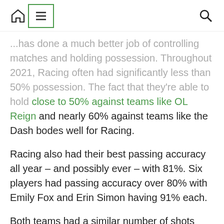Navigation header with home icon, menu icon, and search icon
...has done a much better job of controlling matches and holding possession. Throughout 2021, Racing often had significantly less than 50% possession. The fact that they're able to hold close to 50% against teams like OL Reign and nearly 60% against teams like the Dash bodes well for Racing.
Racing also had their best passing accuracy all year – and possibly ever – with 81%. Six players had passing accuracy over 80% with Emily Fox and Erin Simon having 91% each.
Both teams had a similar number of shots with 11 for Houston compared to 10 for Racing. Once again, Racing was edged fairly significantly in shots on goal although both teams weren't particularly